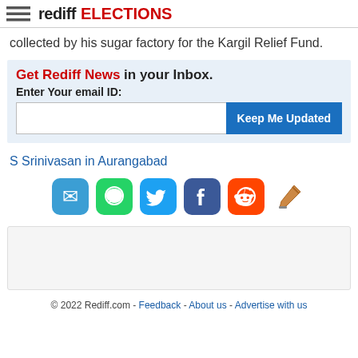rediff ELECTIONS
collected by his sugar factory for the Kargil Relief Fund.
Get Rediff News in your Inbox.
Enter Your email ID:
S Srinivasan in Aurangabad
[Figure (other): Social sharing icons: Email, WhatsApp, Twitter, Facebook, Reddit, and pencil/edit icon]
[Figure (other): Advertisement placeholder box]
© 2022 Rediff.com - Feedback - About us - Advertise with us